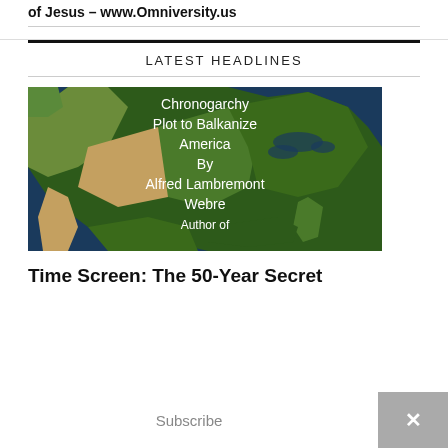of Jesus – www.Omniversity.us
LATEST HEADLINES
[Figure (illustration): Satellite map image of North America with overlaid white text reading: 'Chronogarchy Plot to Balkanize America By Alfred Lambremont Webre Author of']
Time Screen: The 50-Year Secret
Subscribe
×